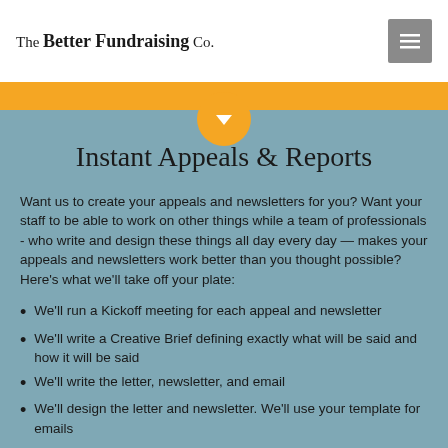The Better Fundraising Co.
Instant Appeals & Reports
Want us to create your appeals and newsletters for you? Want your staff to be able to work on other things while a team of professionals - who write and design these things all day every day — makes your appeals and newsletters work better than you thought possible? Here's what we'll take off your plate:
We'll run a Kickoff meeting for each appeal and newsletter
We'll write a Creative Brief defining exactly what will be said and how it will be said
We'll write the letter, newsletter, and email
We'll design the letter and newsletter. We'll use your template for emails